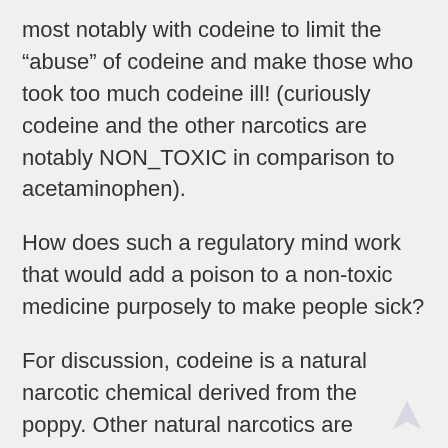most notably with codeine to limit the “abuse” of codeine and make those who took too much codeine ill! (curiously codeine and the other narcotics are notably NON_TOXIC in comparison to acetaminophen).
How does such a regulatory mind work that would add a poison to a non-toxic medicine purposely to make people sick?
For discussion, codeine is a natural narcotic chemical derived from the poppy. Other natural narcotics are morphine and theobaine. Morphine was isolated from the poppy in 1804 and it’s structure as a complex polycyclic was not defined till much later.